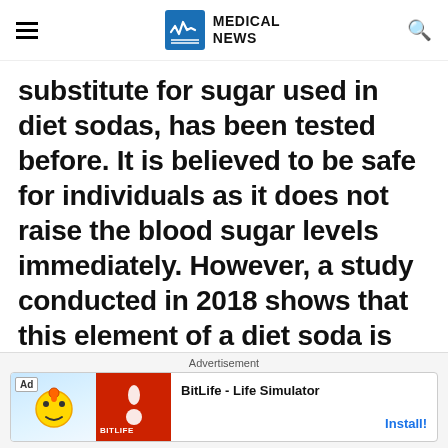MEDICAL NEWS
substitute for sugar used in diet sodas, has been tested before. It is believed to be safe for individuals as it does not raise the blood sugar levels immediately. However, a study conducted in 2018 shows that this element of a diet soda is potential enough to affect the cortisol levels and insulin resistance in the body.
Advertisement
[Figure (other): Advertisement banner for BitLife - Life Simulator mobile app showing logo and Install button]